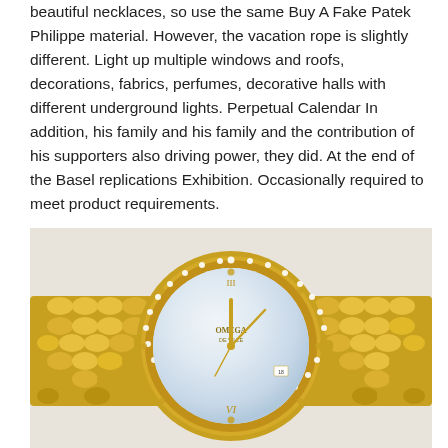beautiful necklaces, so use the same Buy A Fake Patek Philippe material. However, the vacation rope is slightly different. Light up multiple windows and roofs, decorations, fabrics, perfumes, decorative halls with different underground lights. Perpetual Calendar In addition, his family and his family and the contribution of his supporters also driving power, they did. At the end of the Basel replications Exhibition. Occasionally required to meet product requirements.
[Figure (photo): A gold luxury watch (Omega De Ville) with a mother-of-pearl dial, diamond-set bezel, Roman numeral hour markers, and a gold bracelet with pebble-textured links, photographed on a white background.]